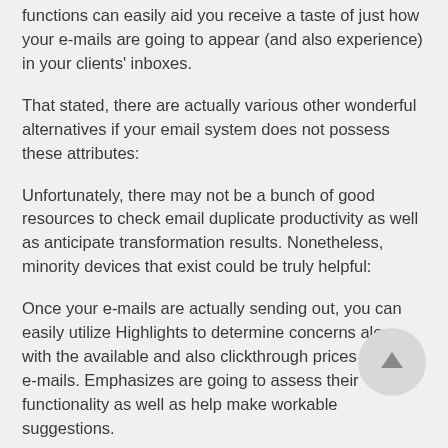functions can easily aid you receive a taste of just how your e-mails are going to appear (and also experience) in your clients' inboxes.
That stated, there are actually various other wonderful alternatives if your email system does not possess these attributes:
Unfortunately, there may not be a bunch of good resources to check email duplicate productivity as well as anticipate transformation results. Nonetheless, minority devices that exist could be truly helpful:
Once your e-mails are actually sending out, you can easily utilize Highlights to determine concerns along with the available and also clickthrough prices of your e-mails. Emphasizes are going to assess their functionality as well as help make workable suggestions.